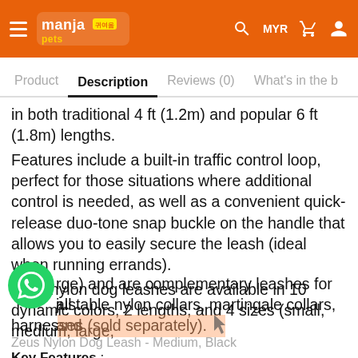Manja Pets — MYR
Product   Description   Reviews (0)   What's in the b
in both traditional 4 ft (1.2m) and popular 6 ft (1.8m) lengths. Features include a built-in traffic control loop, perfect for those situations where additional control is needed, as well as a convenient quick-release duo-tone snap buckle on the handle that allows you to easily secure the leash (ideal when running errands). Zeus nylon dog leashes are available in 10 dynamic colors, 2 lengths, and 4 sizes (small, medium, large, [x-large]) and are complementary leashes for all Zeus adjustable nylon collars, martingale collars, and harnesses (sold separately).
Zeus Nylon Dog Leash - Medium, Black
Key Features :